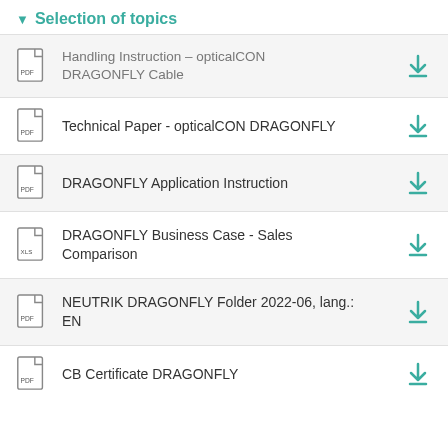Selection of topics
Handling Instruction - opticalCON DRAGONFLY Cable
Technical Paper - opticalCON DRAGONFLY
DRAGONFLY Application Instruction
DRAGONFLY Business Case - Sales Comparison
NEUTRIK DRAGONFLY Folder 2022-06, lang.: EN
CB Certificate DRAGONFLY